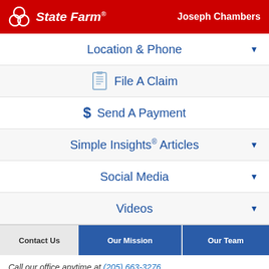State Farm — Joseph Chambers
Location & Phone
File A Claim
Send A Payment
Simple Insights® Articles
Social Media
Videos
Contact Us | Our Mission | Our Team
Call our office anytime at (205) 663-3276
How should we contact you?